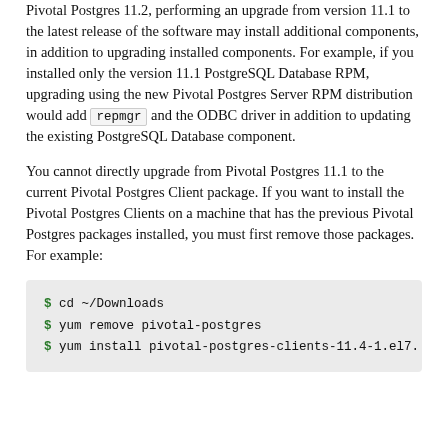Pivotal Postgres 11.2, performing an upgrade from version 11.1 to the latest release of the software may install additional components, in addition to upgrading installed components. For example, if you installed only the version 11.1 PostgreSQL Database RPM, upgrading using the new Pivotal Postgres Server RPM distribution would add repmgr and the ODBC driver in addition to updating the existing PostgreSQL Database component.
You cannot directly upgrade from Pivotal Postgres 11.1 to the current Pivotal Postgres Client package. If you want to install the Pivotal Postgres Clients on a machine that has the previous Pivotal Postgres packages installed, you must first remove those packages. For example:
[Figure (screenshot): Code block showing terminal commands: $ cd ~/Downloads, $ yum remove pivotal-postgres, $ yum install pivotal-postgres-clients-11.4-1.el7.]